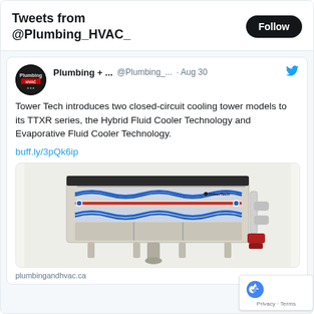Tweets from @Plumbing_HVAC_
Plumbing + ... @Plumbing_... · Aug 30
Tower Tech introduces two closed-circuit cooling tower models to its TTXR series, the Hybrid Fluid Cooler Technology and Evaporative Fluid Cooler Technology.
buff.ly/3pQk6ip
[Figure (photo): Photograph of a Tower Tech TTXR series closed-circuit cooling tower unit, showing a rectangular industrial unit with blue and red coiled tubes/pipes, mounted on a white frame with legs, and piping connections on the right side.]
plumbingandhvac.ca